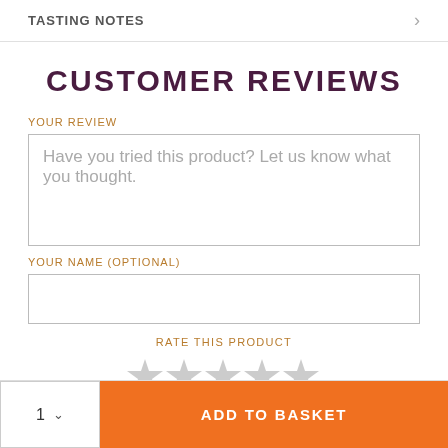TASTING NOTES
CUSTOMER REVIEWS
YOUR REVIEW
Have you tried this product? Let us know what you thought.
YOUR NAME (OPTIONAL)
RATE THIS PRODUCT
[Figure (other): Five grey star rating icons in a row]
1  ADD TO BASKET